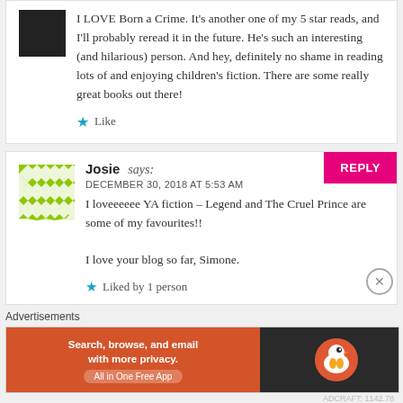I LOVE Born a Crime. It's another one of my 5 star reads, and I'll probably reread it in the future. He's such an interesting (and hilarious) person. And hey, definitely no shame in reading lots of and enjoying children's fiction. There are some really great books out there!
Like
Josie says: DECEMBER 30, 2018 AT 5:53 AM
I loveeeeee YA fiction – Legend and The Cruel Prince are some of my favourites!!

I love your blog so far, Simone.
Liked by 1 person
Advertisements
[Figure (infographic): DuckDuckGo advertisement banner: orange section on left reads 'Search, browse, and email with more privacy. All in One Free App', dark section on right shows DuckDuckGo logo]